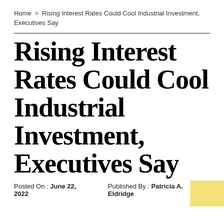Home > Rising Interest Rates Could Cool Industrial Investment, Executives Say
Rising Interest Rates Could Cool Industrial Investment, Executives Say
Posted On : June 22, 2022   Published By : Patricia A. Eldridge